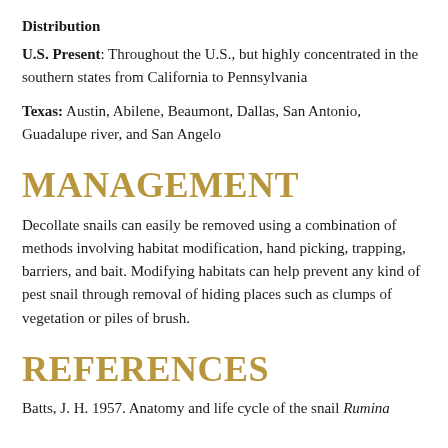Distribution
U.S. Present: Throughout the U.S., but highly concentrated in the southern states from California to Pennsylvania
Texas: Austin, Abilene, Beaumont, Dallas, San Antonio, Guadalupe river, and San Angelo
MANAGEMENT
Decollate snails can easily be removed using a combination of methods involving habitat modification, hand picking, trapping, barriers, and bait. Modifying habitats can help prevent any kind of pest snail through removal of hiding places such as clumps of vegetation or piles of brush.
REFERENCES
Batts, J. H. 1957. Anatomy and life cycle of the snail Rumina